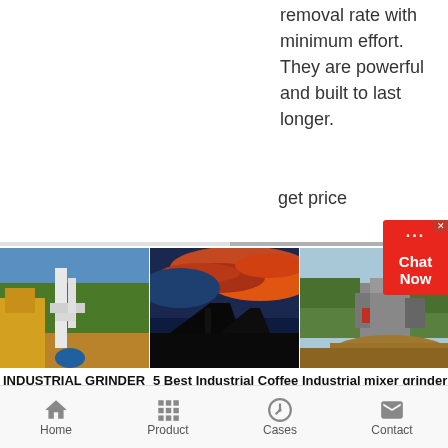removal rate with minimum effort. They are powerful and built to last longer.
get price
[Figure (photo): Industrial grinder machinery at an outdoor site with yellow equipment and white piping, green trees in background]
INDUSTRIAL GRINDER LASKA
2016-4-26   LASKA
[Figure (photo): Dramatic sunset sky with red and orange clouds over silhouetted industrial equipment]
5 Best Industrial Coffee Grinders for
[Figure (photo): Industrial mixer grinder machines parked at an outdoor site with trees in background and pile of material in foreground]
Industrial mixer grinder All industrial manufacturers
Home   Product   Cases   Contact